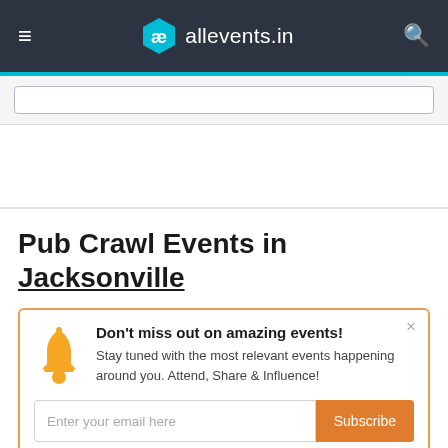allevents.in
Pub Crawl Events in Jacksonville
Don't miss out on amazing events! Stay tuned with the most relevant events happening around you. Attend, Share & Influence!
Enter your email here Subscribe